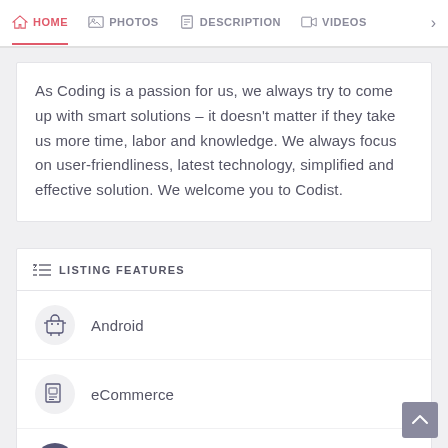HOME  PHOTOS  DESCRIPTION  VIDEOS
As Coding is a passion for us, we always try to come up with smart solutions – it doesn't matter if they take us more time, labor and knowledge. We always focus on user-friendliness, latest technology, simplified and effective solution. We welcome you to Codist.
LISTING FEATURES
Android
eCommerce
iOS App
WordPress